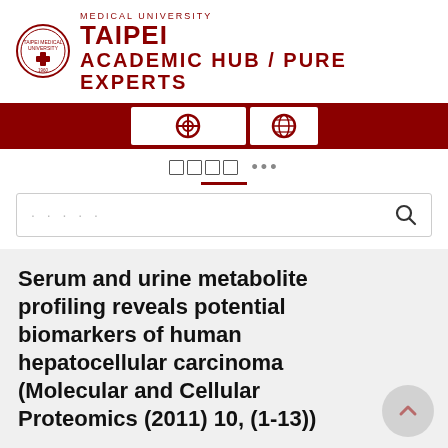[Figure (logo): Taipei Medical University circular seal/crest logo in dark red]
TAIPEI
MEDICAL UNIVERSITY
ACADEMIC HUB / PURE EXPERTS
[Figure (screenshot): Navigation bar with dark red background containing two white buttons with icons (life-ring icon and globe icon)]
[Figure (screenshot): Menu bar with four small squares icon, ellipsis menu dots, and a dark red underline indicator]
[Figure (screenshot): Search box with dotted placeholder text and magnifying glass search icon]
Serum and urine metabolite profiling reveals potential biomarkers of human hepatocellular carcinoma (Molecular and Cellular Proteomics (2011) 10, (1-13))